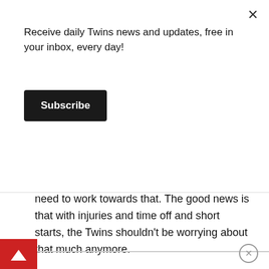Receive daily Twins news and updates, free in your inbox, every day!
Subscribe
haven't pitched 150 innings of late, so they need to work towards that. The good news is that with injuries and time off and short starts, the Twins shouldn't be worrying about that much anymore.
You need a pitcher that can do multiple innings, go thru a lineup more than once.
Right now, many managers don't want to see poitchers face a batter a third time. That was once the purpose of an opener,. so your main "weak"
starter could face a lineup the third time, but starting with the weaker part of a batting order.